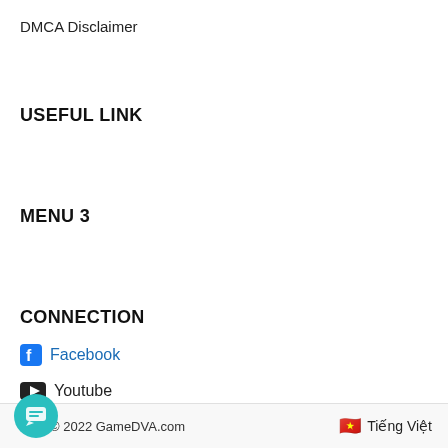DMCA Disclaimer
USEFUL LINK
MENU 3
CONNECTION
Facebook
Youtube
Pinterest
© 2022 GameDVA.com    🇻🇳 Tiếng Việt